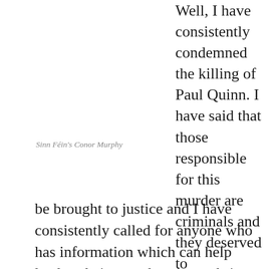Well, I have consistently condemned the killing of Paul Quinn. I have said that those responsible for this murder are criminals and they deserved to be brought to justice and I have consistently called for anyone who has information which can help lead to their apprehension to bring that to investigating authorities on either side of the border. Remarks that I made at the time he was killed are a matter of regret. I am sorry that that should be the grief that the famil
Sinn Féin's Conor Murphy